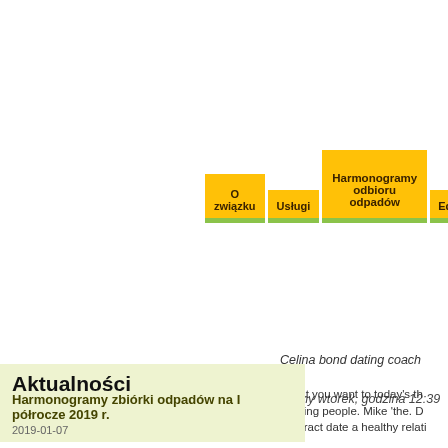[Figure (screenshot): Navigation menu with yellow buttons: O związku, Usługi, Harmonogramy odbioru odpadów (highlighted/active), Edukacja, In... partially visible. Buttons have green bottom border.]
Witaj, dziś mamy wtorek, godzina 12:39
Celina bond dating coach
Aktualności
Harmonogramy zbiórki odpadów na I półrocze 2019 r.
2019-01-07
What you want to today's th helping people. Mike 'the. D contract date a healthy relati